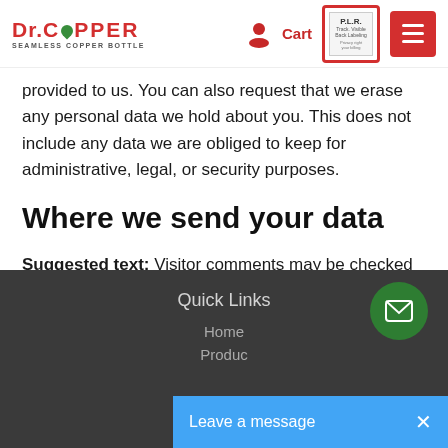Dr. Copper – Seamless Copper Bottle — navigation header with Cart and menu
provided to us. You can also request that we erase any personal data we hold about you. This does not include any data we are obliged to keep for administrative, legal, or security purposes.
Where we send your data
Suggested text: Visitor comments may be checked through an automated spam detection service.
Quick Links
Home
Products
[Figure (other): Green circular mail/envelope button and blue 'Leave a message' bar with X close button]